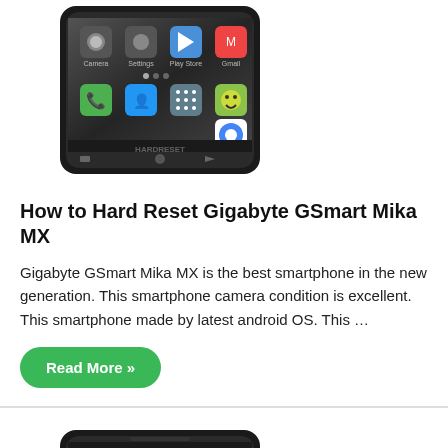[Figure (photo): Gigabyte GSmart Mika MX smartphone showing Android home screen with app icons]
How to Hard Reset Gigabyte GSmart Mika MX
Gigabyte GSmart Mika MX is the best smartphone in the new generation. This smartphone camera condition is excellent. This smartphone made by latest android OS. This …
Read More »
[Figure (photo): Another smartphone device showing a purple screen, partially visible at bottom of page]